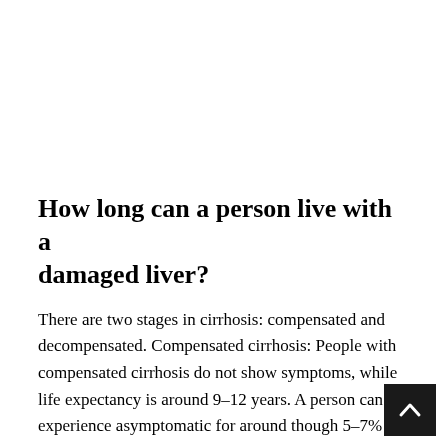How long can a person live with a damaged liver?
There are two stages in cirrhosis: compensated and decompensated. Compensated cirrhosis: People with compensated cirrhosis do not show symptoms, while life expectancy is around 9–12 years. A person can experience asymptomatic for around through 5–7% of t…